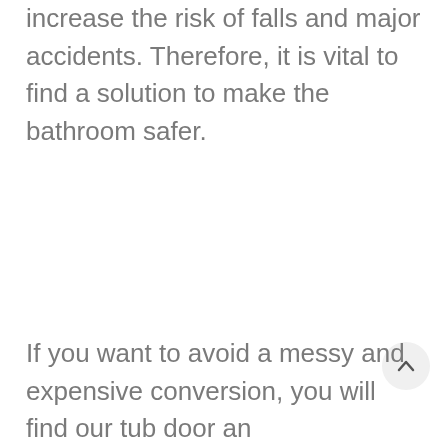increase the risk of falls and major accidents. Therefore, it is vital to find a solution to make the bathroom safer.
If you want to avoid a messy and expensive conversion, you will find our tub door an